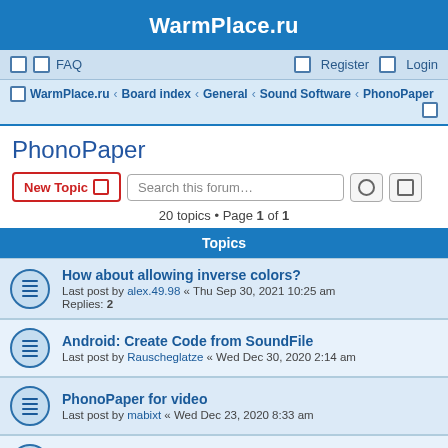WarmPlace.ru
FAQ  Register  Login
WarmPlace.ru · Board index · General · Sound Software · PhonoPaper
PhonoPaper
New Topic  Search this forum…
20 topics • Page 1 of 1
Topics
How about allowing inverse colors?
Last post by alex.49.98 « Thu Sep 30, 2021 10:25 am
Replies: 2
Android: Create Code from SoundFile
Last post by Rauscheglatze « Wed Dec 30, 2020 2:14 am
PhonoPaper for video
Last post by mabixt « Wed Dec 23, 2020 8:33 am
Tattoo Friendly Code?
Last post by maxxzaxx « Tue May 01, 2018 12:25 pm
Solution camera issues
Last post by TheMonopluralist « Tue Nov 07, 2017 10:04 pm
Replies: 4